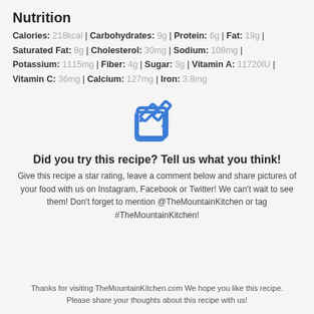Nutrition
Calories: 218kcal | Carbohydrates: 9g | Protein: 6g | Fat: 19g | Saturated Fat: 8g | Cholesterol: 30mg | Sodium: 108mg | Potassium: 1115mg | Fiber: 4g | Sugar: 3g | Vitamin A: 11720IU | Vitamin C: 36mg | Calcium: 127mg | Iron: 3.8mg
[Figure (illustration): Blue pencil/edit icon — a square with a pencil overlay]
Did you try this recipe? Tell us what you think!
Give this recipe a star rating, leave a comment below and share pictures of your food with us on Instagram, Facebook or Twitter! We can't wait to see them! Don't forget to mention @TheMountainKitchen or tag #TheMountainKitchen!
Thanks for visiting TheMountainKitchen.com We hope you like this recipe. Please share your thoughts about this recipe with us!